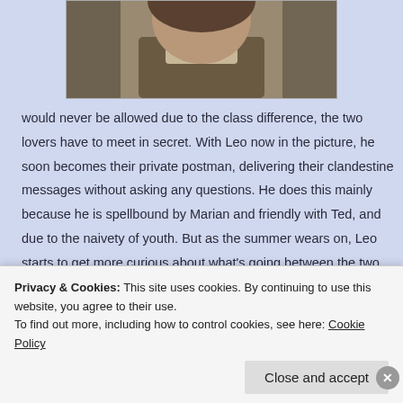[Figure (photo): A screenshot showing the top portion of a person's face/head, cropped at the top of the page]
would never be allowed due to the class difference, the two lovers have to meet in secret. With Leo now in the picture, he soon becomes their private postman, delivering their clandestine messages without asking any questions. He does this mainly because he is spellbound by Marian and friendly with Ted, and due to the naivety of youth. But as the summer wears on, Leo starts to get more curious about what's going between the two, despite his closeness to them both. As he becomes more aware of what is going on
Privacy & Cookies: This site uses cookies. By continuing to use this website, you agree to their use.
To find out more, including how to control cookies, see here: Cookie Policy
Close and accept